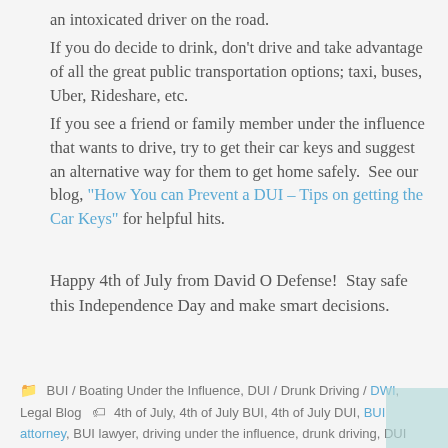an intoxicated driver on the road. If you do decide to drink, don't drive and take advantage of all the great public transportation options; taxi, buses, Uber, Rideshare, etc. If you see a friend or family member under the influence that wants to drive, try to get their car keys and suggest an alternative way for them to get home safely.  See our blog, "How You can Prevent a DUI – Tips on getting the Car Keys" for helpful hits.
Happy 4th of July from David O Defense!  Stay safe this Independence Day and make smart decisions.
BUI / Boating Under the Influence, DUI / Drunk Driving / DWI, Legal Blog   4th of July, 4th of July BUI, 4th of July DUI, BUI attorney, BUI lawyer, driving under the influence, drunk driving, DUI